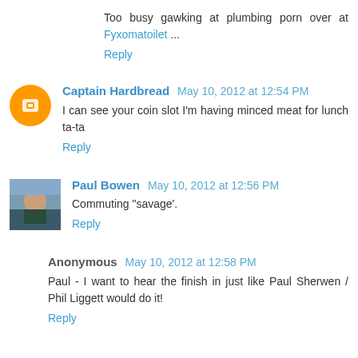Too busy gawking at plumbing porn over at Fyxomatoilet ...
Reply
Captain Hardbread May 10, 2012 at 12:54 PM
I can see your coin slot I'm having minced meat for lunch ta-ta
Reply
Paul Bowen May 10, 2012 at 12:56 PM
Commuting "savage'.
Reply
Anonymous May 10, 2012 at 12:58 PM
Paul - I want to hear the finish in just like Paul Sherwen / Phil Liggett would do it!
Reply